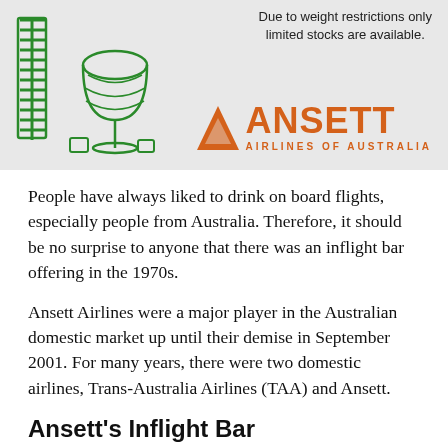[Figure (illustration): Ansett Airlines advertisement banner showing a green line-art illustration of a wine glass and bar items on the left, with text 'Due to weight restrictions only limited stocks are available.' at the top right, and the Ansett Airlines of Australia logo (orange triangle and bold orange text) at the bottom right.]
People have always liked to drink on board flights, especially people from Australia. Therefore, it should be no surprise to anyone that there was an inflight bar offering in the 1970s.
Ansett Airlines were a major player in the Australian domestic market up until their demise in September 2001. For many years, there were two domestic airlines, Trans-Australia Airlines (TAA) and Ansett.
Ansett's Inflight Bar
At the time, Ansett operated Boeing 727s, Douglas DC-9s and (later) 737s, for domestic routes.